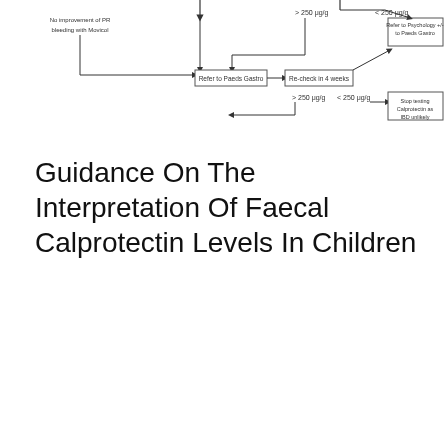[Figure (flowchart): Partial flowchart showing the bottom portion of a clinical decision flowchart for faecal calprotectin levels in children. Shows nodes: 'No improvement of PR bleeding with Movicol', 'Refer to Paeds Gastro', 'Re-check in 4 weeks', '>250 ug/g', '<250 ug/g', 'Refer to Psychology +/- to Paeds Gastro', 'Stop testing Calprotectin as IBD unlikely', with connecting arrows.]
Guidance On The Interpretation Of Faecal Calprotectin Levels In Children